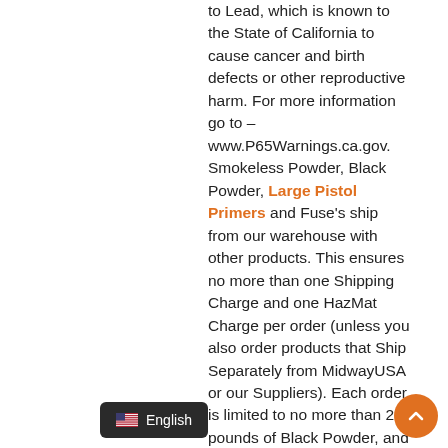to Lead, which is known to the State of California to cause cancer and birth defects or other reproductive harm. For more information go to – www.P65Warnings.ca.gov. Smokeless Powder, Black Powder, Large Pistol Primers and Fuse's ship from our warehouse with other products. This ensures no more than one Shipping Charge and one HazMat Charge per order (unless you also order products that Ship Separately from MidwayUSA or our Suppliers). Each order is limited to no more than 25 pounds of Black Powder, and no more than 66 pounds each of Smokeless Powder, Primers, or Fuse. Smokeless Powder, Black Powder,  and Fuses are considered hazardous materials, incur HazMat Charges, and can only ship ground freight within the continental U.S. Due to safety considerations and legal/regulatory reasons, Smokeless Powder, Black Powder, rs, and Fuses cannot be returned.
English